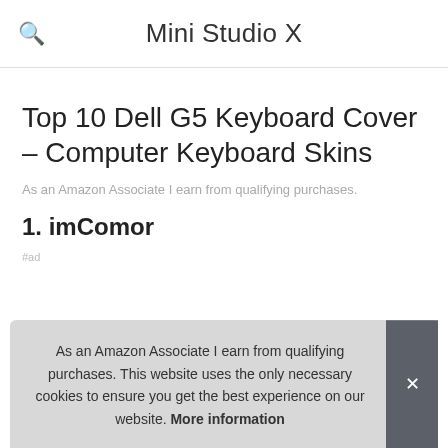Mini Studio X
Top 10 Dell G5 Keyboard Cover – Computer Keyboard Skins
As an Amazon Associate I earn from qualifying purchases.
1. imComor
#ad
As an Amazon Associate I earn from qualifying purchases. This website uses the only necessary cookies to ensure you get the best experience on our website. More information